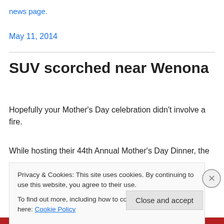news page.
May 11, 2014
SUV scorched near Wenona
Hopefully your Mother's Day celebration didn't involve a fire.
While hosting their 44th Annual Mother's Day Dinner, the Wenona Fire Department...
Privacy & Cookies: This site uses cookies. By continuing to use this website, you agree to their use.
To find out more, including how to control cookies, see here: Cookie Policy
Close and accept